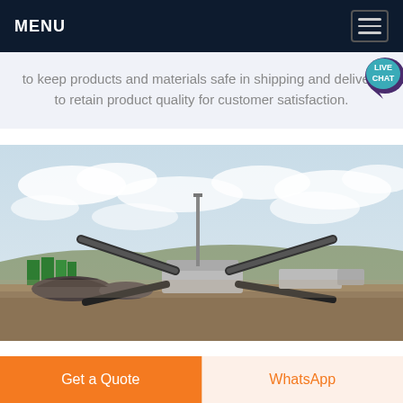MENU
to keep products and materials safe in shipping and delivery to retain product quality for customer satisfaction.
[Figure (photo): Outdoor industrial crushing/screening plant with large conveyor belts arranged in an X-pattern, surrounded by piles of aggregate and green dust suppression barriers, against a cloudy sky.]
Get a Quote
WhatsApp